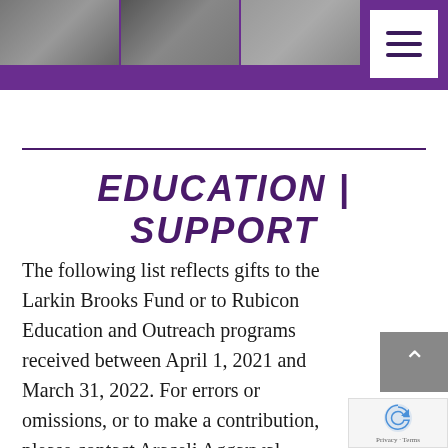[Figure (photo): Header banner with purple background and three photo blocks showing people, with a hamburger menu icon in top right corner]
EDUCATION | SUPPORT
The following list reflects gifts to the Larkin Brooks Fund or to Rubicon Education and Outreach programs received between April 1, 2021 and March 31, 2022. For errors or omissions, or to make a contribution, please contact Araceli Aggarwal, Development